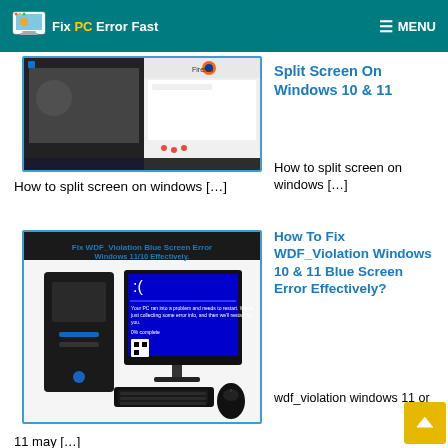Fix PC Error Fast  MENU
[Figure (screenshot): Screenshot showing split screen on Windows with Google and Firefox browser windows side by side]
How to split screen on windows […]
Split Screen On Windows 10 & 11
How to split screen on windows […]
[Figure (screenshot): Fix WDF_Violation Blue Screen Error Windows 11/10 Effectively - showing a PC tower and monitor with blue screen of death]
wdf_violation windows 11 may […]
How To Fix WDF_Violation Windows 10 & 11 Blue Screen Error Effectively?
wdf_violation windows 11 or